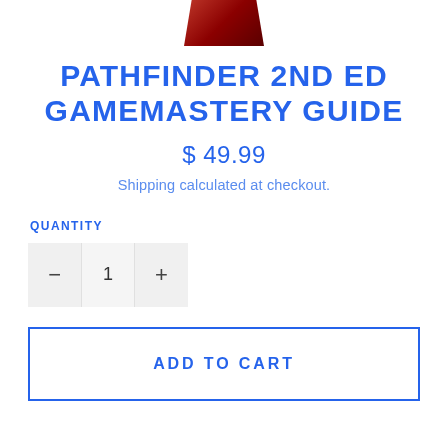[Figure (photo): Partial view of a book/game product box at the top of the page]
PATHFINDER 2ND ED GAMEMASTERY GUIDE
$ 49.99
Shipping calculated at checkout.
QUANTITY
- 1 +
ADD TO CART